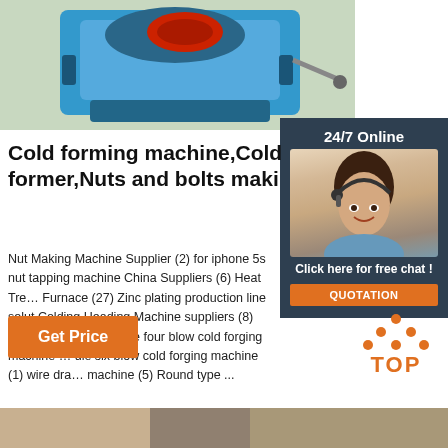[Figure (photo): Blue cold forming machine equipment photo at top of page]
[Figure (photo): Sidebar: 24/7 Online banner with female customer service agent wearing headset]
Cold forming machine,Cold former,Nuts and bolts maki
Nut Making Machine Supplier (2) for iphone 5s nut tapping machine China Suppliers (6) Heat Treatment Furnace (27) Zinc plating production line solut Colding Heading Machine suppliers (8) Samsung S4 (8) two die four blow cold forging machine die six blow cold forging machine (1) wire drawing machine (5) Round type ...
[Figure (logo): TOP logo with orange dots arranged in triangle above word TOP]
Get Price
[Figure (photo): Bottom strip photo, partially visible]